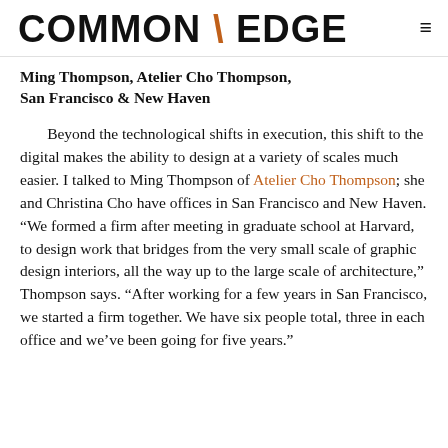COMMON \ EDGE
Ming Thompson, Atelier Cho Thompson, San Francisco & New Haven
Beyond the technological shifts in execution, this shift to the digital makes the ability to design at a variety of scales much easier. I talked to Ming Thompson of Atelier Cho Thompson; she and Christina Cho have offices in San Francisco and New Haven. “We formed a firm after meeting in graduate school at Harvard, to design work that bridges from the very small scale of graphic design interiors, all the way up to the large scale of architecture,” Thompson says. “After working for a few years in San Francisco, we started a firm together. We have six people total, three in each office and we’ve been going for five years.”